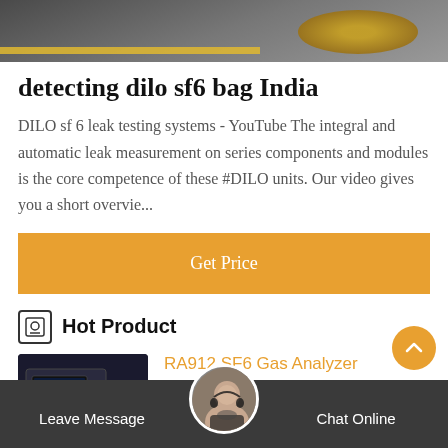[Figure (photo): Top banner image with dark/grey background and yellow/gold circular element, partial product image]
detecting dilo sf6 bag India
DILO sf 6 leak testing systems - YouTube The integral and automatic leak measurement on series components and modules is the core competence of these #DILO units. Our video gives you a short overvie...
Get Price
Hot Product
RA912 SF6 Gas Analyzer
For determining the quality of SF6 gas.
Leave Message    Chat Online